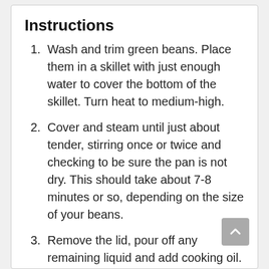Instructions
Wash and trim green beans. Place them in a skillet with just enough water to cover the bottom of the skillet. Turn heat to medium-high.
Cover and steam until just about tender, stirring once or twice and checking to be sure the pan is not dry. This should take about 7-8 minutes or so, depending on the size of your beans.
Remove the lid, pour off any remaining liquid and add cooking oil. Toss and saute for about 1 minute. Add the almonds (or other nuts) and continue to fry until there is a slight